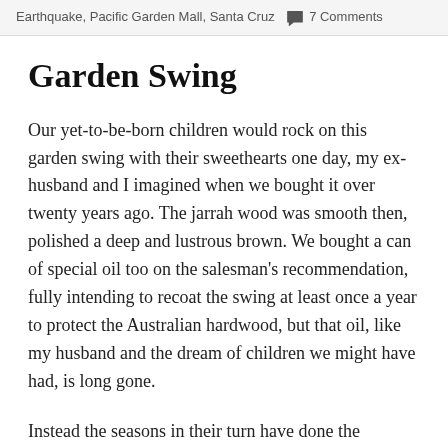Earthquake, Pacific Garden Mall, Santa Cruz  🗨 7 Comments
Garden Swing
Our yet-to-be-born children would rock on this garden swing with their sweethearts one day, my ex-husband and I imagined when we bought it over twenty years ago. The jarrah wood was smooth then, polished a deep and lustrous brown. We bought a can of special oil too on the salesman's recommendation, fully intending to recoat the swing at least once a year to protect the Australian hardwood, but that oil, like my husband and the dream of children we might have had, is long gone.
Instead the seasons in their turn have done the scouring and burnishing. For the last five years, in the...